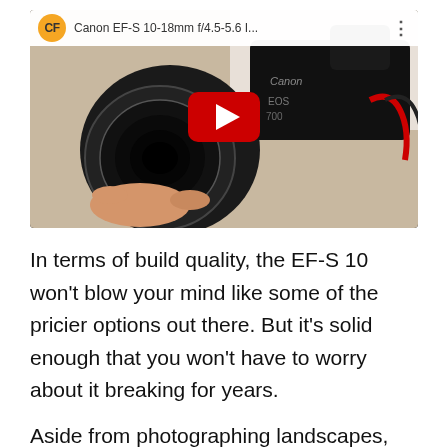[Figure (screenshot): YouTube video thumbnail showing Canon EF-S 10-18mm f/4.5-5.6 lens review. Shows a Canon DSLR camera being held, with YouTube player overlay including channel icon (CF in yellow circle), video title 'Canon EF-S 10-18mm f/4.5-5.6 I...', red play button in center.]
In terms of build quality, the EF-S 10 won't blow your mind like some of the pricier options out there. But it's solid enough that you won't have to worry about it breaking for years.
Aside from photographing landscapes, there's